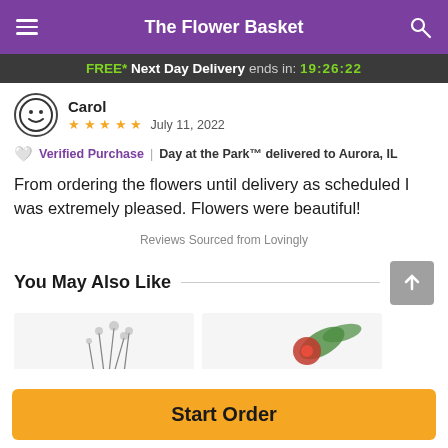The Flower Basket
FREE* Next Day Delivery ends in: 19:26:22
Carol
★★★★★  July 11, 2022
🤍 Verified Purchase | Day at the Park™ delivered to Aurora, IL
From ordering the flowers until delivery as scheduled I was extremely pleased. Flowers were beautiful!
Reviews Sourced from Lovingly
You May Also Like
[Figure (photo): Partial view of floral product thumbnails]
Start Order